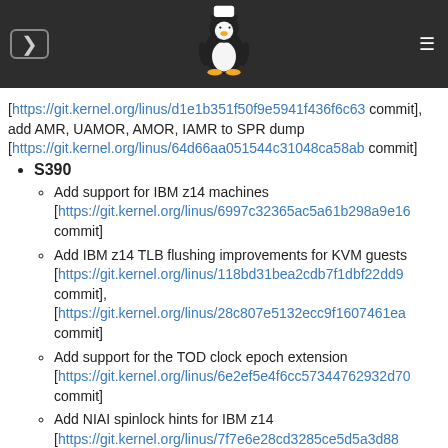[https://git.kernel.org/linus/d1e1b351f50f9e5941f436f6c63... commit], add AMR, UAMOR, AMOR, IAMR to SPR dump [https://git.kernel.org/linus/64d66aa051544c31048ca58ab... commit]
S390
Add support for IBM z14 machines [https://git.kernel.org/linus/6997c32365ac5a61b298a9e16... commit]
Add IBM z14 TLB flushing improvements for KVM guests [https://git.kernel.org/linus/118bd31bea2cdb7f1dbf22dd9... commit], [https://git.kernel.org/linus/28c807e5132ecc9f1607461ea... commit]
Add support for the TOD clock epoch extension [https://git.kernel.org/linus/6e2ef5e4f6cc57344762932d70... commit]
Add NIAI spinlock hints for IBM z14 [https://git.kernel.org/linus/7f7e6e28cd3285ce5d5a3d88...